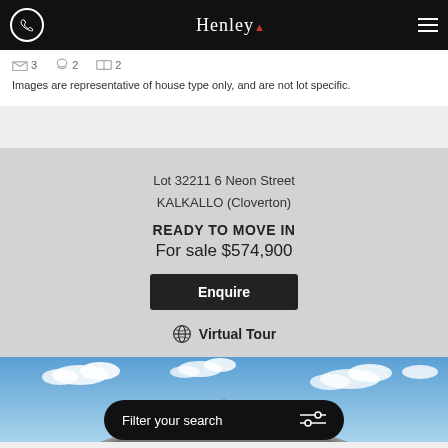Henley
3 bedrooms  2 bathrooms  2 garage
Images are representative of house type only, and are not lot specific.
Lot 32211 6 Neon Street
KALKALLO (Cloverton)

READY TO MOVE IN
For sale $574,900
Enquire
Virtual Tour
[Figure (photo): Exterior photo of house showing roof against blue sky with clouds]
Filter your search